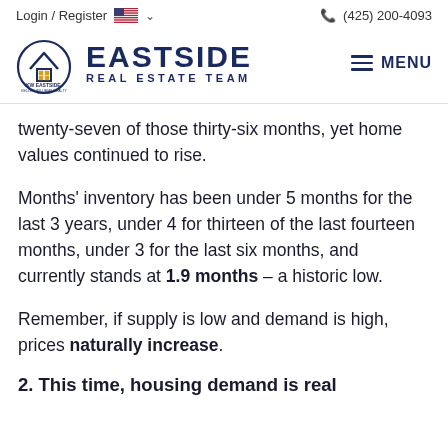Login / Register  🇺🇸 ∨    📞 (425) 200-4093
[Figure (logo): Eastside Real Estate Team / KW Eastside Keller Williams Realty logo with house icon and MENU button]
twenty-seven of those thirty-six months, yet home values continued to rise.
Months' inventory has been under 5 months for the last 3 years, under 4 for thirteen of the last fourteen months, under 3 for the last six months, and currently stands at 1.9 months – a historic low.
Remember, if supply is low and demand is high, prices naturally increase.
2. This time, housing demand is real